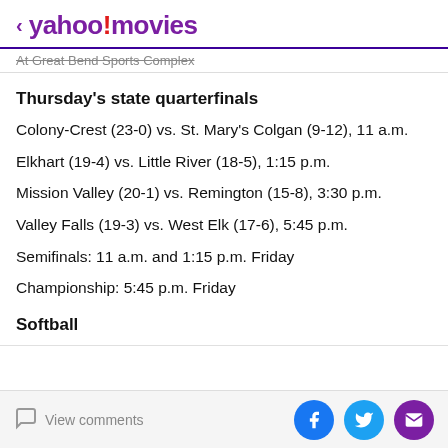< yahoo!movies
At Great Bend Sports Complex
Thursday's state quarterfinals
Colony-Crest (23-0) vs. St. Mary's Colgan (9-12), 11 a.m.
Elkhart (19-4) vs. Little River (18-5), 1:15 p.m.
Mission Valley (20-1) vs. Remington (15-8), 3:30 p.m.
Valley Falls (19-3) vs. West Elk (17-6), 5:45 p.m.
Semifinals: 11 a.m. and 1:15 p.m. Friday
Championship: 5:45 p.m. Friday
Softball
View comments